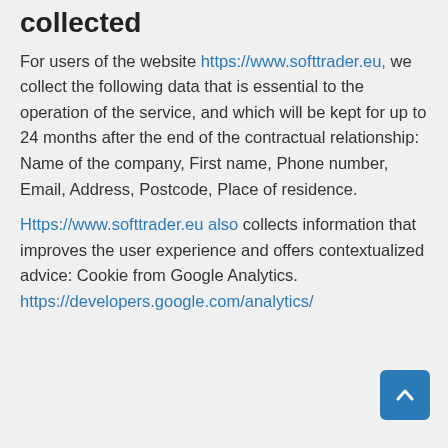collected
For users of the website https://www.softtrader.eu, we collect the following data that is essential to the operation of the service, and which will be kept for up to 24 months after the end of the contractual relationship: Name of the company, First name, Phone number, Email, Address, Postcode, Place of residence.
Https://www.softtrader.eu also collects information that improves the user experience and offers contextualized advice: Cookie from Google Analytics. https://developers.google.com/analytics/